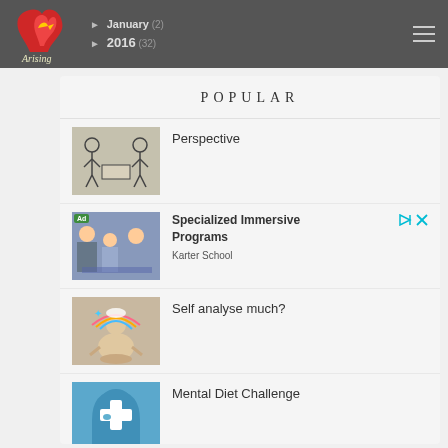January (2) | 2016 (32)
POPULAR
Perspective
[Figure (photo): Two stick figures facing each other across a table - illustration for Perspective article]
[Figure (photo): Ad: Children in a classroom setting - Specialized Immersive Programs, Karter School]
Specialized Immersive Programs
Karter School
Self analyse much?
[Figure (illustration): Cartoon figure meditating with rainbow and clouds above head]
Mental Diet Challenge
[Figure (illustration): Blue silhouette of head with medical cross symbol]